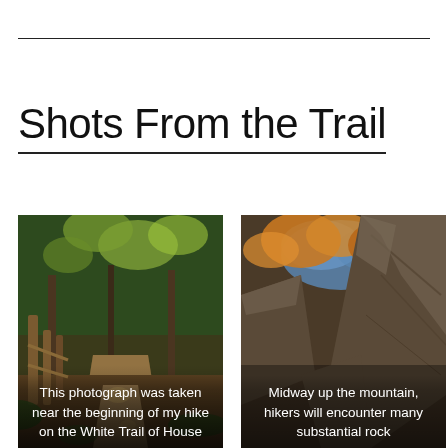Shots From the Trail
[Figure (photo): Forest trail photograph taken near the beginning of a hike on the White Trail, showing wooden fence posts, dirt path, and green foliage in autumn light.]
This photograph was taken near the beginning of my hike on the White Trail of House
[Figure (photo): Midway up the mountain, looking up through large rock formations and autumn-colored trees with blue sky visible above.]
Midway up the mountain, hikers will encounter many substantial rock